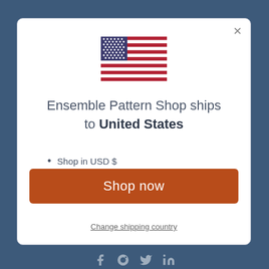[Figure (illustration): US flag SVG illustration centered at top of modal]
Ensemble Pattern Shop ships to United States
Shop in USD $
Get shipping options for United States
Shop now
Change shipping country